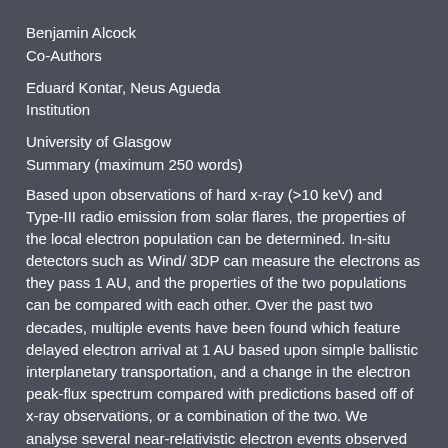Benjamin Alcock
Co-Authors
Eduard Kontar, Neus Agueda
Institution
University of Glasgow
Summary (maximum 250 words)
Based upon observations of hard x-ray (>10 keV) and Type-III radio emission from solar flares, the properties of the local electron population can be determined. In-situ detectors such as Wind/ 3DP can measure the electrons as they pass 1 AU, and the properties of the two populations can be compared with each other. Over the past two decades, multiple events have been found which feature delayed electron arrival at 1 AU based upon simple ballistic interplanetary transportation, and a change in the electron peak-flux spectrum compared with predictions based off of x-ray observations, or a combination of the two. We analyse several near-relativistic electron events observed via both RHESSI hard x-ray observations at the Sun and in-situ measurements from the Wind/3DP detector at 1 AU. Numerical simulations of electron transport outwards from the Sun are made which take the electron injection time and peak flux...